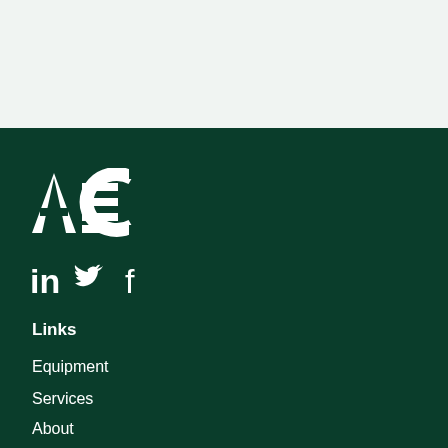[Figure (logo): AMC logo in white on dark green background]
[Figure (infographic): Social media icons: LinkedIn (in), Twitter (bird), Facebook (f) in white]
Links
Equipment
Services
About